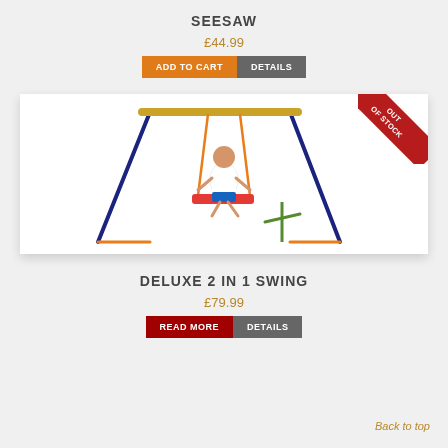SEESAW
£44.99
ADD TO CART   DETAILS
[Figure (photo): Child sitting on a swing set with blue A-frame metal structure, orange ropes, and a small green seesaw attachment. 'OUT OF STOCK' red ribbon in top-right corner.]
DELUXE 2 IN 1 SWING
£79.99
READ MORE   DETAILS
Back to top